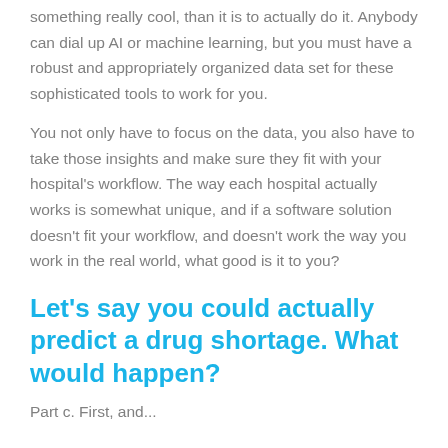something really cool, than it is to actually do it. Anybody can dial up AI or machine learning, but you must have a robust and appropriately organized data set for these sophisticated tools to work for you.
You not only have to focus on the data, you also have to take those insights and make sure they fit with your hospital's workflow. The way each hospital actually works is somewhat unique, and if a software solution doesn't fit your workflow, and doesn't work the way you work in the real world, what good is it to you?
Let's say you could actually predict a drug shortage. What would happen?
Part c. First, and...